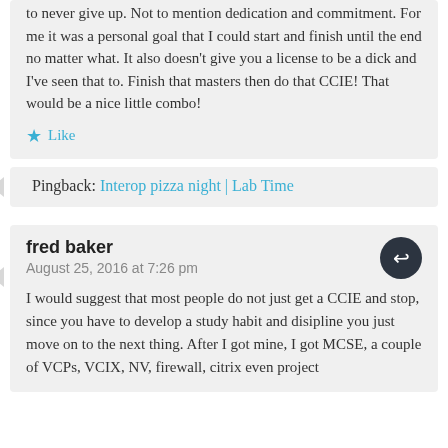to never give up. Not to mention dedication and commitment. For me it was a personal goal that I could start and finish until the end no matter what. It also doesn't give you a license to be a dick and I've seen that to. Finish that masters then do that CCIE! That would be a nice little combo!
★ Like
Pingback: Interop pizza night | Lab Time
fred baker
August 25, 2016 at 7:26 pm
I would suggest that most people do not just get a CCIE and stop, since you have to develop a study habit and disipline you just move on to the next thing. After I got mine, I got MCSE, a couple of VCPs, VCIX, NV, firewall, citrix even project